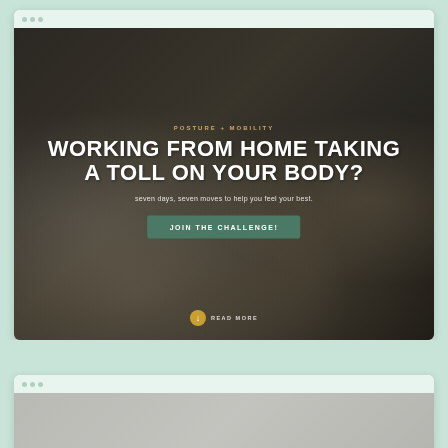[Figure (screenshot): Browser mockup showing a fitness/wellness website hero section with dark overlay photo of a desk with laptop, coffee cup, notebook, and phone. Centered text reads 'POSTURE + MOBILITY' as subtitle, then large heading 'WORKING FROM HOME TAKING A TOLL ON YOUR BODY?', followed by subtext 'seven days, seven moves to help you feel your best.', a teal CTA button 'JOIN THE CHALLENGE!', and a scroll indicator with gold circle and 'READ MORE' text.]
WORKING FROM HOME TAKING A TOLL ON YOUR BODY?
seven days, seven moves to help you feel your best.
[Figure (screenshot): Partial second browser mockup visible at the bottom of the page, showing just the browser chrome bar and a small portion of page content below.]